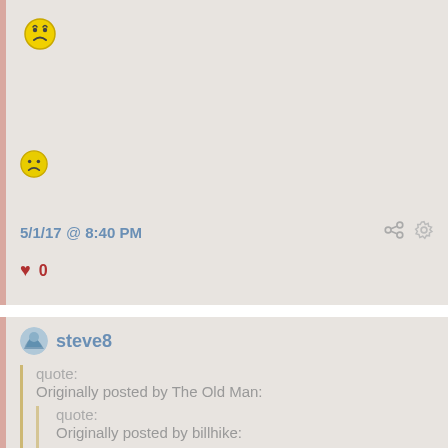[Figure (illustration): Sad/confused emoji face (yellow circle with frowning expression)]
[Figure (illustration): Sad/confused emoji face (yellow circle with frowning expression), slightly smaller]
5/1/17 @ 8:40 PM
♥ 0
steve8
quote:
Originally posted by The Old Man:

  quote:
  Originally posted by billhike:

    quote: